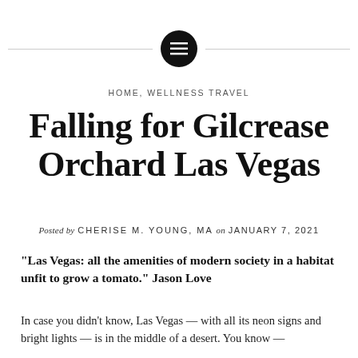[Figure (logo): Black circular logo with three horizontal lines (hamburger menu icon), flanked by thin horizontal lines on each side]
HOME, WELLNESS TRAVEL
Falling for Gilcrease Orchard Las Vegas
Posted by CHERISE M. YOUNG, MA on JANUARY 7, 2021
“Las Vegas: all the amenities of modern society in a habitat unfit to grow a tomato.” Jason Love
In case you didn’t know, Las Vegas — with all its neon signs and bright lights — is in the middle of a desert. You know —